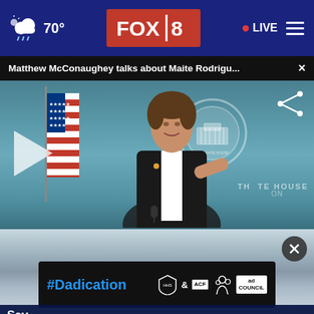70° FOX 8 • LIVE
Matthew McConaughey talks about Maite Rodrigu... ×
[Figure (screenshot): Video still of a man in a dark suit at the White House briefing room podium, gesturing with his hand, with an American flag to his left and the White House seal visible in the background. A play button icon appears on the left side and a share icon in the upper right.]
[Figure (screenshot): Partially visible second video thumbnail showing a cloudy sky scene. An X close button appears in the upper right. An advertisement banner showing #Dadication with HHS ACF and Ad Council logos is overlaid.]
Sev
Winston-Salem crash